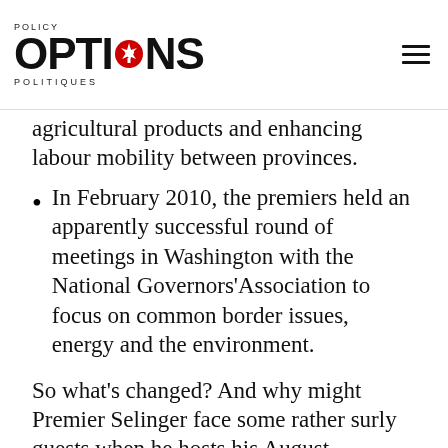POLICY OPTIONS POLITIQUES
agricultural products and enhancing labour mobility between provinces.
In February 2010, the premiers held an apparently successful round of meetings in Washington with the National Governors'Association to focus on common border issues, energy and the environment.
So what's changed? And why might Premier Selinger face some rather surly guests when he hosts his August meeting? The answer is because of three separate issues: health care financing, the environment and